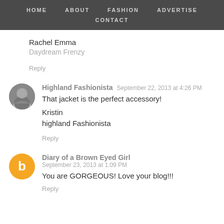HOME   ABOUT   FASHION   ADVERTISE   CONTACT
Rachel Emma
Daydream Frenzy
Reply
Highland Fashionista   September 22, 2013 at 4:26 PM
That jacket is the perfect accessory!
Kristin
highland Fashionista
Reply
Diary of a Brown Eyed Girl   September 23, 2013 at 1:09 PM
You are GORGEOUS! Love your blog!!!
Reply